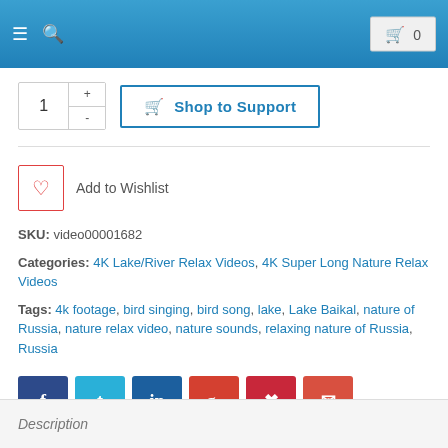Navigation header with hamburger menu, search icon, and cart (0)
1  Shop to Support (quantity selector and add to cart button)
Add to Wishlist
SKU: video00001682
Categories: 4K Lake/River Relax Videos, 4K Super Long Nature Relax Videos
Tags: 4k footage, bird singing, bird song, lake, Lake Baikal, nature of Russia, nature relax video, nature sounds, relaxing nature of Russia, Russia
Social share buttons: Facebook, Twitter, LinkedIn, Google+, Pinterest, Email
Description